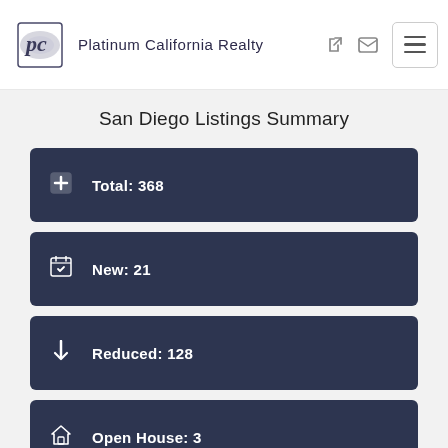Platinum California Realty
San Diego Listings Summary
Total: 368
New: 21
Reduced: 128
Open House: 3